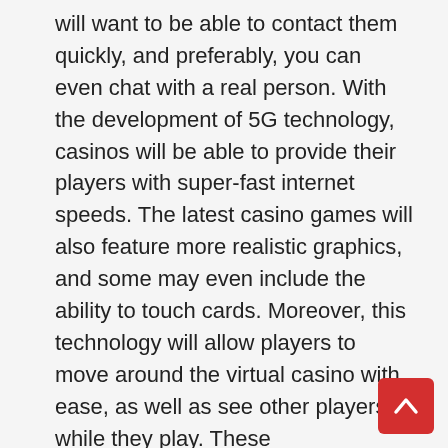will want to be able to contact them quickly, and preferably, you can even chat with a real person. With the development of 5G technology, casinos will be able to provide their players with super-fast internet speeds. The latest casino games will also feature more realistic graphics, and some may even include the ability to touch cards. Moreover, this technology will allow players to move around the virtual casino with ease, as well as see other players, while they play. These improvements will increase the quality of the overall experience at a casino online. However, these advances are only possible if players choose the right online casino for their needs. Live casinos are a relatively new form of online gambling. They mimic the action in a traditional
[Figure (other): Red scroll-to-top button with upward chevron arrow, positioned in the bottom-right corner]